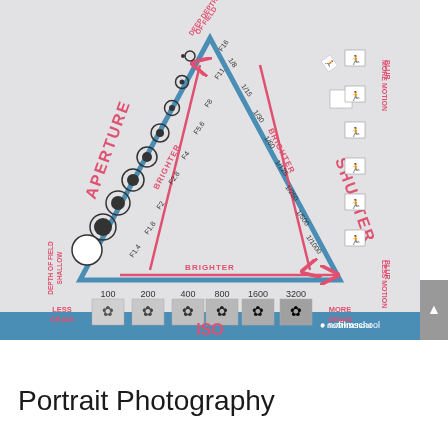[Figure (infographic): Photography exposure triangle infographic showing the relationship between Aperture (f1.4 to f16), Shutter speed (1/8 to 1/1000), and ISO (100 to 12800). A blue triangle in the center connects the three elements. Pink arrows inside labeled BRIGHTER show how increasing each setting brightens the image. Aperture side shows aperture blade icons from small to large opening. Shutter side shows motion blur icons from more to less. ISO bottom shows grain effect from less to more. Labels: DEEP DEPTH OF FIELD, MORE MOTION BLUR, SHALLOW DEPTH OF FIELD, LESS MOTION BLUR, LESS GRAIN, MORE GRAIN. nofilmschool logo bottom right.]
Portrait Photography